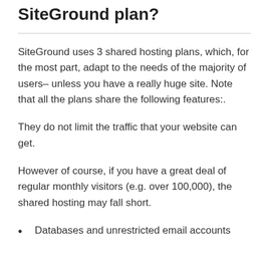SiteGround plan?
SiteGround uses 3 shared hosting plans, which, for the most part, adapt to the needs of the majority of users– unless you have a really huge site. Note that all the plans share the following features:.
They do not limit the traffic that your website can get.
However of course, if you have a great deal of regular monthly visitors (e.g. over 100,000), the shared hosting may fall short.
Databases and unrestricted email accounts